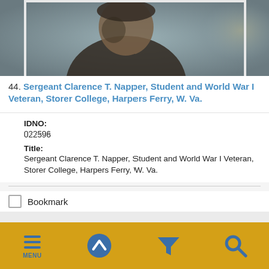[Figure (photo): Black and white portrait photograph of Sergeant Clarence T. Napper in military uniform with cap, partial view cropped at top]
44. Sergeant Clarence T. Napper, Student and World War I Veteran, Storer College, Harpers Ferry, W. Va.
IDNO: 022596
Title: Sergeant Clarence T. Napper, Student and World War I Veteran, Storer College, Harpers Ferry, W. Va.
Bookmark
MENU (navigation bar with menu, up, filter, search icons)